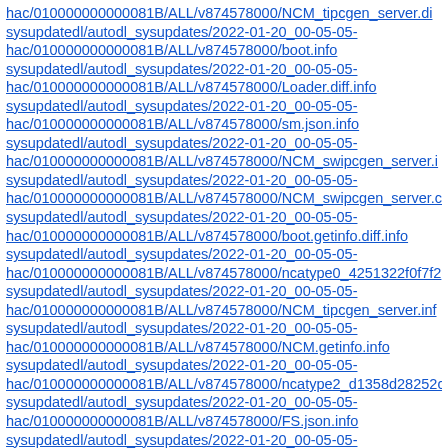hac/010000000000081B/ALL/v874578000/NCM_tipcgen_server.di
sysupdatedl/autodl_sysupdates/2022-01-20_00-05-05-hac/010000000000081B/ALL/v874578000/boot.info
sysupdatedl/autodl_sysupdates/2022-01-20_00-05-05-hac/010000000000081B/ALL/v874578000/Loader.diff.info
sysupdatedl/autodl_sysupdates/2022-01-20_00-05-05-hac/010000000000081B/ALL/v874578000/sm.json.info
sysupdatedl/autodl_sysupdates/2022-01-20_00-05-05-hac/010000000000081B/ALL/v874578000/NCM_swipcgen_server.i
sysupdatedl/autodl_sysupdates/2022-01-20_00-05-05-hac/010000000000081B/ALL/v874578000/NCM_swipcgen_server.c
sysupdatedl/autodl_sysupdates/2022-01-20_00-05-05-hac/010000000000081B/ALL/v874578000/boot.getinfo.diff.info
sysupdatedl/autodl_sysupdates/2022-01-20_00-05-05-hac/010000000000081B/ALL/v874578000/ncatype0_4251322f0f7f2
sysupdatedl/autodl_sysupdates/2022-01-20_00-05-05-hac/010000000000081B/ALL/v874578000/NCM_tipcgen_server.inf
sysupdatedl/autodl_sysupdates/2022-01-20_00-05-05-hac/010000000000081B/ALL/v874578000/NCM.getinfo.info
sysupdatedl/autodl_sysupdates/2022-01-20_00-05-05-hac/010000000000081B/ALL/v874578000/ncatype2_d1358d28252c
sysupdatedl/autodl_sysupdates/2022-01-20_00-05-05-hac/010000000000081B/ALL/v874578000/FS.json.info
sysupdatedl/autodl_sysupdates/2022-01-20_00-05-05-hac/010000000000081B/ALL/v874578000/sm.getinfo.diff.info